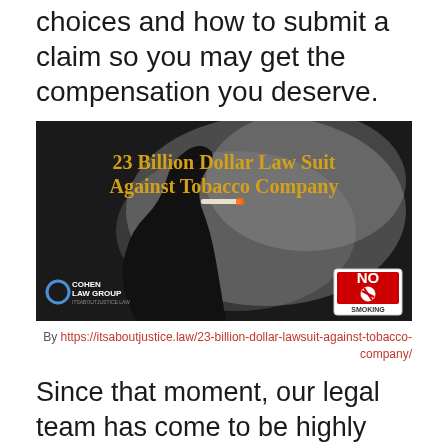choices and how to submit a claim so you may get the compensation you deserve.
[Figure (photo): Banner image reading '23 Billion Dollar Law Suit Against Tobacco Company' with Cohen Law Group logo and a No Smoking sign, showing a silhouette of a person smoking.]
By https://itsaboutjustice.law/23-billion-dollar-lawsuit-against-tobacco-company/
Since that moment, our legal team has come to be highly respected in the industry of law in Baltimore and throughout Maryland. It is our job to not just get you fair benefits, but also to attain a far superior outcome than you would